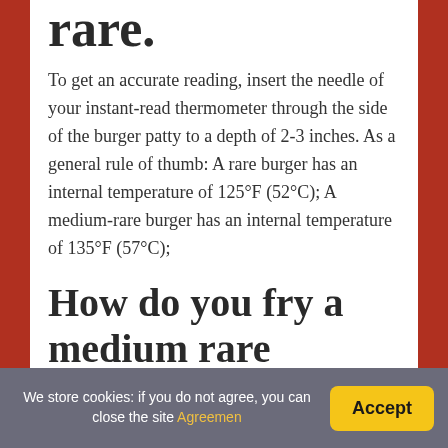rare.
To get an accurate reading, insert the needle of your instant-read thermometer through the side of the burger patty to a depth of 2-3 inches. As a general rule of thumb: A rare burger has an internal temperature of 125°F (52°C); A medium-rare burger has an internal temperature of 135°F (57°C);
How do you fry a medium rare burger?
How to Cook a Medium-Rare Hamburger on the Stovetop
We store cookies: if you do not agree, you can close the site Agreemen   Accept